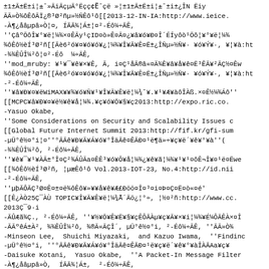±1±Ã±Ë±i¦±¯ »ÃiÃçµÃ°Ëçç¢Ë¯ çë »¦±1±Ã±Ë±i¦±¯ ±i±¿ÎN Ëiy ÃÃ»Ò¾ôÊôÃÏ¿®³Ø²ñµ»½ÑÊô¹ô[[2013-12-IN-IA:http://www.ieice. -À¶¿åâµpâ»Ò¦¤, ÍÃÃ¾¦Á±¦¤²-Éô¼÷ÃÊ, ''ÇâºÕôÎ¥°¥ë¦¼¾×¤ÊÃy¹çID¤ò»Ê¤Ã¤¿¥â¥ó¥Ð¤Î´ÉÍyôò¹Õô¦¥°¥ë¦¼¾ ¾ôÊô½èÍ³Ø²ñ[[Ãè6²ó¥¤¥ó¥ó¥¿¦¼¾¥Î¥Ã¥Ê¤Ë±¿ÎÑµ»½Ñ¥· ¥ó¥Ý¥·, ¥¦¥à:ht -¾¾ÊÛÎ¼²ô¦¤²-Éô ¼÷ÃÊ, ''mod_mruby: ¥¹¥¯¥ê¥×¥Ê, Ã, i¤Ç¹åÃ®â«¤Ä¾Ê¥â¥å¥ê¤Ë³ÊÃ¥²ÃÇ½¤Êw ¾ôÊô½èÍ³Ø²ñ[[Ãè6²ó¥¤¥ó¥ó¥¿¦¼¾¥Î¥Ã¥Ê¤Ë±¿ÎÑµ»½Ñ¥· ¥ó¥Ý¥·, ¥¦¥à:ht -²-Éô¼÷ÃÊ, ''¥â¥Ð¥¤¥ëWiMAX¥¥¾¥ó¥Ñ¥¹¥Î¥Ã¥Ê¥ë¦¼¾¯ ¥.¥¹¥Æ¥àôÎÀß.×¤Ê½¼¾Áô'' [[MCPC¥â¥Ð¥¤¥ë½¥ê¥å¦¼¾.¥ç¥ó¥Õ¥§¥ç2013:http://expo.ric.co. -Yasuo Okabe, ''Some Considerations on Security and Scalability Issues c [[Global Future Internet Summit 2013:http://fif.kr/gfi-sum -µÜ°ê½¤°i¦¤''°ÃÃê¥Ð¥Ã¥Á¥ó¥°ÎäÃê¤ÊÃÐ¤¹ë¶ä»÷¥ç¥ë´¥ê¥°¥à''( -¾¾ÊÛÎ¼²ô, ²-Éô¼÷ÃÊ, ''¥ê¥¯¥¹¥ÀÃ±°Î¤Ç²¾ÁÛÃa¤ÊÊ³¥ó¥Ô¥å¦¼¾¿¥ê¥ã¦¼¾¥¹¥¹¤ôÊ¬Î¥¤¹ë¤Ëwe [[¾ôÊô½èÍ³Ø²ñ, ¦µæÊô¹ô Vol.2013-IOT-23, No.4:http://id.nii -²-Éô¼÷ÃÊ, ''µþÃÔÃÇ³Ø¤Ê¤±¤ë¾ôÊô¥»¥¥å¥ê¥Æ£Ðöö¤Î¤³¤i¤Þ¤Ç¤Ë¤ò«¤é' [[Ê¿ÀÒ25Ç¯ÀÙ TOPIC¥Î¥Ã¥Ê¥ë¦¼¾¯Ã´Äö¿¦°÷, ¦½¤²ñ:http://www.cc. 2013Ç¯9·i -ÃÛÆã¾Ç., ²-Éô¼÷ÃÊ, ''¥½¥Õ¥Ê¥Ë¥§¥çÊÔÃÀµ¥ç¥Ã¥×¥i¦¼¾¥É¼ÔÃÊÀ×¤Î -ÃÃºêÁ±À², ¾¾ÊÛÎ¼²ô, ¾®Ã«ÃÇÎ´, µÜ°ê½¤¤°i, ²-Éô¼÷ÃÊ, ''ÃÃ»Ò¾ -Minseon Lee, Shuichi Miyazaki, and Kazuo Iwama, ''Findinc -µÜ°ê½¤°i, ''°ÃÃê¥Ð¥Ã¥Á¥ó¥°ÎäÃê¤ÊÃÐ¤¹ë¥ç¥ë´¥ê¥°¥àÎÀÃAa¥ç¥ -Daisuke Kotani, Yasuo Okabe, ''A Packet-In Message Filter -À¶¿åâµpâ»Ò, ÍÃÃ¾¦Á±, ²-Éô¼÷ÃÊ, ''Äy¹çID´ÉÍy¤Ë¤±¤ë¥â¥ó¥ÐÄ°ÀôÎÑ¤¤¿³ÊÄ¥²ÃÇ½¤Ê¥ë¥· ´ÉÎ¥°¥ë''  [[¥Ð¥ë¥Á¥âÃÇ¥Ë¥¡¦¤Ê¬»¶¤ëÏ¤i¤Ñ¤Ì ¶Ô¸ ´ ¤Ë¥â¥Ð¥¤¥ë(DICOM02013)¥.¥ó¥Ý